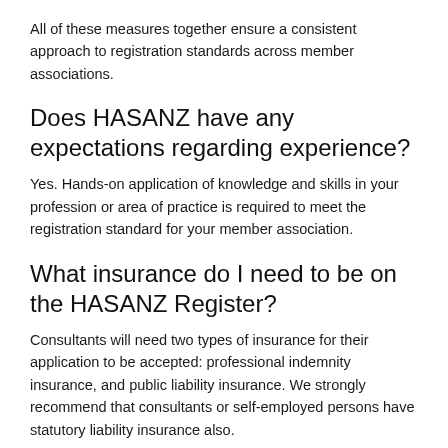All of these measures together ensure a consistent approach to registration standards across member associations.
Does HASANZ have any expectations regarding experience?
Yes. Hands-on application of knowledge and skills in your profession or area of practice is required to meet the registration standard for your member association.
What insurance do I need to be on the HASANZ Register?
Consultants will need two types of insurance for their application to be accepted: professional indemnity insurance, and public liability insurance. We strongly recommend that consultants or self-employed persons have statutory liability insurance also.
In-house health and safety advisers should be covered by